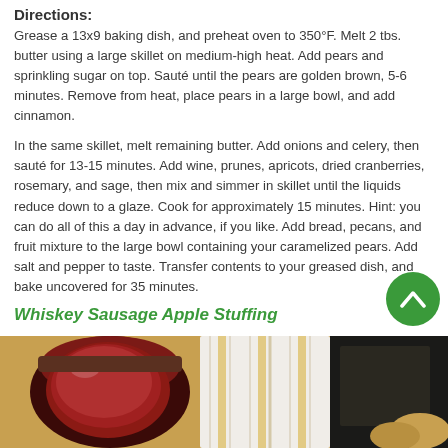Directions:
Grease a 13x9 baking dish, and preheat oven to 350°F. Melt 2 tbs. butter using a large skillet on medium-high heat. Add pears and sprinkling sugar on top. Sauté until the pears are golden brown, 5-6 minutes. Remove from heat, place pears in a large bowl, and add cinnamon.
In the same skillet, melt remaining butter. Add onions and celery, then sauté for 13-15 minutes. Add wine, prunes, apricots, dried cranberries, rosemary, and sage, then mix and simmer in skillet until the liquids reduce down to a glaze. Cook for approximately 15 minutes. Hint: you can do all of this a day in advance, if you like. Add bread, pecans, and fruit mixture to the large bowl containing your caramelized pears. Add salt and pepper to taste. Transfer contents to your greased dish, and bake uncovered for 35 minutes.
Whiskey Sausage Apple Stuffing
[Figure (photo): Food photo showing a jar of dark red cranberry or fruit relish/jam on a wooden surface, with cloth and other food items in the background]